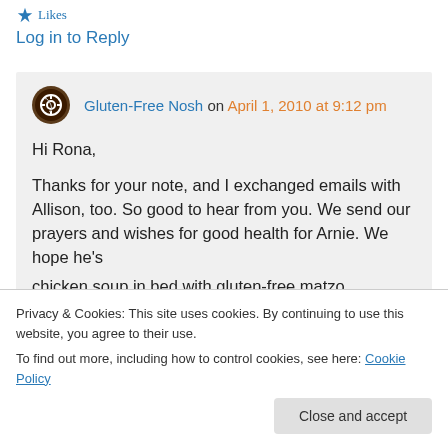Likes
Log in to Reply
Gluten-Free Nosh on April 1, 2010 at 9:12 pm
Hi Rona,

Thanks for your note, and I exchanged emails with Allison, too. So good to hear from you. We send our prayers and wishes for good health for Arnie. We hope he's
chicken soup in bed with gluten-free matzo
Privacy & Cookies: This site uses cookies. By continuing to use this website, you agree to their use.
To find out more, including how to control cookies, see here: Cookie Policy
Close and accept